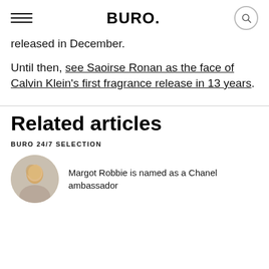BURO.
released in December.
Until then, see Saoirse Ronan as the face of Calvin Klein's first fragrance release in 13 years.
Related articles
BURO 24/7 SELECTION
Margot Robbie is named as a Chanel ambassador